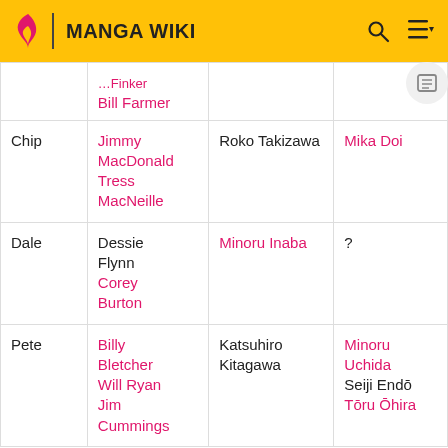MANGA WIKI
| Character | English voice | Japanese voice | Other |
| --- | --- | --- | --- |
|  | Bill Farmer |  |  |
| Chip | Jimmy MacDonald
Tress MacNeille | Roko Takizawa | Mika Doi |
| Dale | Dessie Flynn
Corey Burton | Minoru Inaba | ? |
| Pete | Billy Bletcher
Will Ryan
Jim Cummings | Katsuhiro Kitagawa | Minoru Uchida
Seiji Endō
Tōru Ōhira |